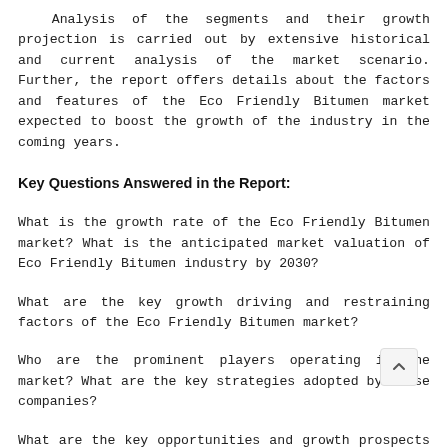Analysis of the segments and their growth projection is carried out by extensive historical and current analysis of the market scenario. Further, the report offers details about the factors and features of the Eco Friendly Bitumen market expected to boost the growth of the industry in the coming years.
Key Questions Answered in the Report:
What is the growth rate of the Eco Friendly Bitumen market? What is the anticipated market valuation of Eco Friendly Bitumen industry by 2030?
What are the key growth driving and restraining factors of the Eco Friendly Bitumen market?
Who are the prominent players operating in the market? What are the key strategies adopted by these companies?
What are the key opportunities and growth prospects of the Eco Friendly Bitumen industry over the forecast